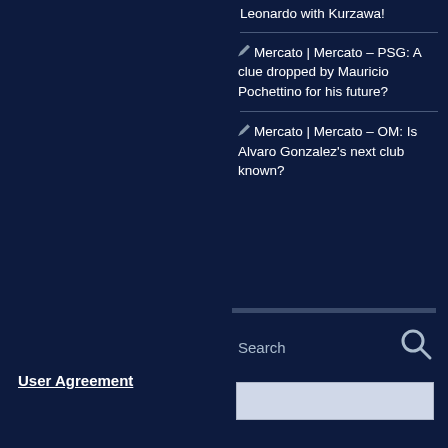Leonardo with Kurzawa!
Mercato | Mercato – PSG: A clue dropped by Mauricio Pochettino for his future?
Mercato | Mercato – OM: Is Alvaro Gonzalez's next club known?
User Agreement
Search